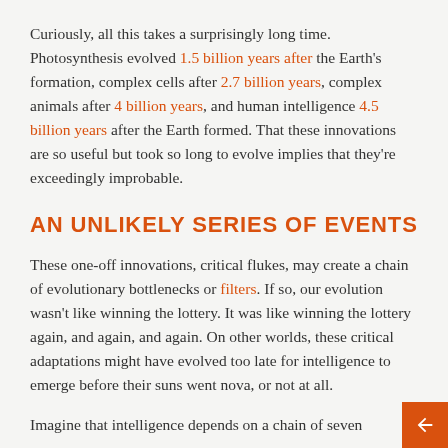Curiously, all this takes a surprisingly long time. Photosynthesis evolved 1.5 billion years after the Earth's formation, complex cells after 2.7 billion years, complex animals after 4 billion years, and human intelligence 4.5 billion years after the Earth formed. That these innovations are so useful but took so long to evolve implies that they're exceedingly improbable.
AN UNLIKELY SERIES OF EVENTS
These one-off innovations, critical flukes, may create a chain of evolutionary bottlenecks or filters. If so, our evolution wasn't like winning the lottery. It was like winning the lottery again, and again, and again. On other worlds, these critical adaptations might have evolved too late for intelligence to emerge before their suns went nova, or not at all.
Imagine that intelligence depends on a chain of seven